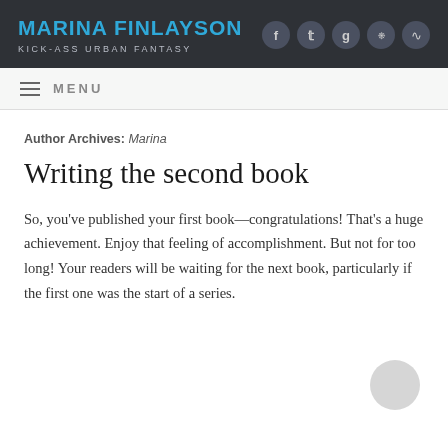Marina Finlayson — Kick-Ass Urban Fantasy
MENU
Author Archives: Marina
Writing the second book
So, you've published your first book—congratulations! That's a huge achievement. Enjoy that feeling of accomplishment. But not for too long! Your readers will be waiting for the next book, particularly if the first one was the start of a series.